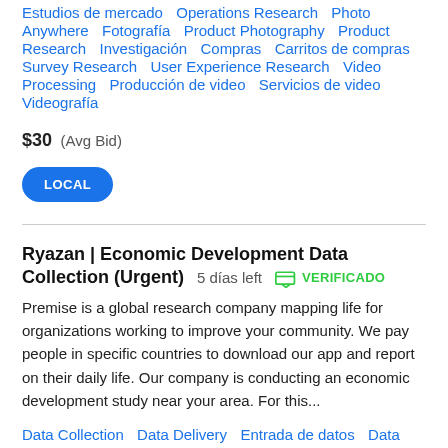Estudios de mercado   Operations Research   Photo Anywhere   Fotografía   Product Photography   Product Research   Investigación   Compras   Carritos de compras   Survey Research   User Experience Research   Video Processing   Producción de video   Servicios de video   Videografía
$30 (Avg Bid)
LOCAL
Ryazan | Economic Development Data Collection (Urgent) 5 días left VERIFICADO
Premise is a global research company mapping life for organizations working to improve your community. We pay people in specific countries to download our app and report on their daily life. Our company is conducting an economic development study near your area. For this...
Data Collection   Data Delivery   Entrada de datos   Data